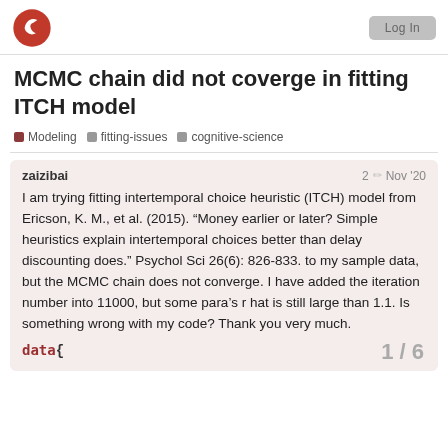Scribbr logo | Log in button
MCMC chain did not coverge in fitting ITCH model
Modeling
fitting-issues
cognitive-science
zaizibai  2  Nov '20
I am trying fitting intertemporal choice heuristic (ITCH) model from Ericson, K. M., et al. (2015). “Money earlier or later? Simple heuristics explain intertemporal choices better than delay discounting does.” Psychol Sci 26(6): 826-833. to my sample data, but the MCMC chain does not converge. I have added the iteration number into 11000, but some para’s r hat is still large than 1.1. Is something wrong with my code? Thank you very much.
data{
1 / 6